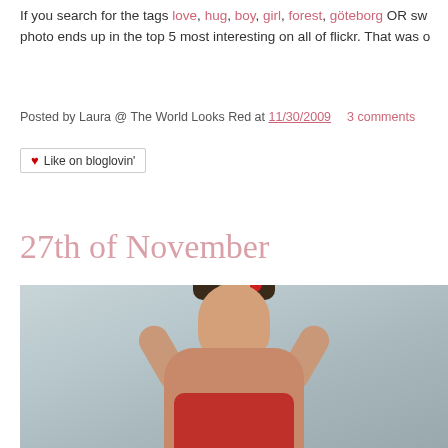If you search for the tags love, hug, boy, girl, forest, göteborg OR sw photo ends up in the top 5 most interesting on all of flickr. That was o
Posted by Laura @ The World Looks Red at 11/30/2009   3 comments
❤ Like on bloglovin'
27th of November
[Figure (photo): A young woman with dark brown hair and bangs, holding a pineapple or tropical plant above her head, wearing a red top, photographed against a light gray-blue background.]